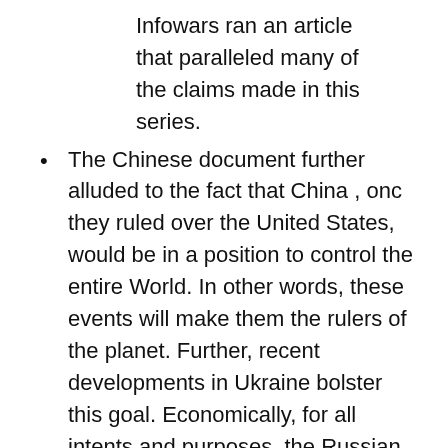Infowars ran an article that paralleled many of the claims made in this series.
The Chinese document further alluded to the fact that China , onc they ruled over the United States, would be in a position to control the entire World. In other words, these events will make them the rulers of the planet. Further, recent developments in Ukraine bolster this goal. Economically, for all intents and purposes, the Russian nation has been cancelled. However, China is there to prevent a total collapse of the modern day version of the Soviet Union by purchasing Russian timber and minerals (30% of Russia's economic output) and of course, their oil! Without China, Russia would collapse overnight. However, China